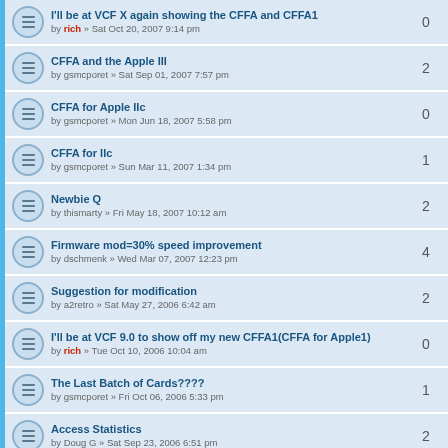I'll be at VCF X again showing the CFFA and CFFA1 by rich » Sat Oct 20, 2007 9:14 pm | 0
CFFA and the Apple III by gsmcporet » Sat Sep 01, 2007 7:57 pm | 2
CFFA for Apple IIc by gsmcporet » Mon Jun 18, 2007 5:58 pm | 0
CFFA for IIc by gsmcporet » Sun Mar 11, 2007 1:34 pm | 1
Newbie Q by thismarty » Fri May 18, 2007 10:12 am | 2
Firmware mod=30% speed improvement by dschmenk » Wed Mar 07, 2007 12:23 pm | 4
Suggestion for modification by a2retro » Sat May 27, 2006 6:42 am | 2
I'll be at VCF 9.0 to show off my new CFFA1(CFFA for Apple1) by rich » Tue Oct 10, 2006 10:04 am | 0
The Last Batch of Cards???? by gsmcporet » Fri Oct 06, 2006 5:33 pm | 1
Access Statistics by Doug G » Sat Sep 23, 2006 6:51 pm | 2
Need ProDOS Disks by Sqeezebox » Wed Feb 15, 2006 4:04 pm | 2